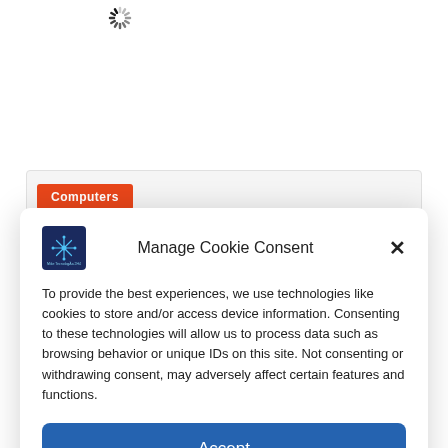[Figure (screenshot): Loading spinner icon at top of page background]
[Figure (screenshot): Partial background page with orange 'Computers' button visible in a light gray card]
[Figure (screenshot): Cookie consent modal dialog with logo, title 'Manage Cookie Consent', close button, body text, and Accept button]
Manage Cookie Consent
To provide the best experiences, we use technologies like cookies to store and/or access device information. Consenting to these technologies will allow us to process data such as browsing behavior or unique IDs on this site. Not consenting or withdrawing consent, may adversely affect certain features and functions.
Accept